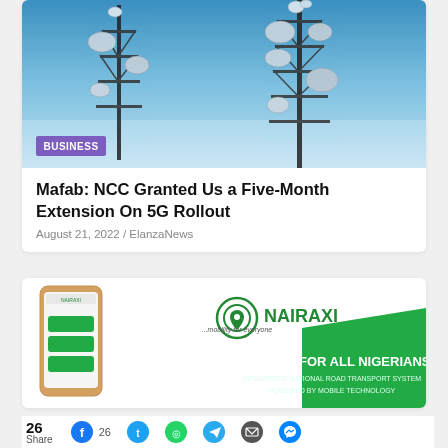[Figure (photo): Two tall telecommunications towers with multiple satellite dishes and antennae against a blue sky, with a purple 'BUSINESS' badge overlay in the bottom left.]
Mafab: NCC Granted Us a Five-Month Extension On 5G Rollout
August 21, 2022 / ElanzaNews
[Figure (photo): Nairaxi advertisement banner showing a smartphone with the Nairaxi app, the Nairaxi logo, and the text 'MOBILITY FOR ALL NIGERIANS — INTEGRATED NATIONAL ROAD TRANSPORT SYSTEM POWERED BY MOBILE TECHNOLOGY']
26 Share   26 (Facebook)  (Twitter)  (WhatsApp)  (Telegram)  (Email)  (Messenger)